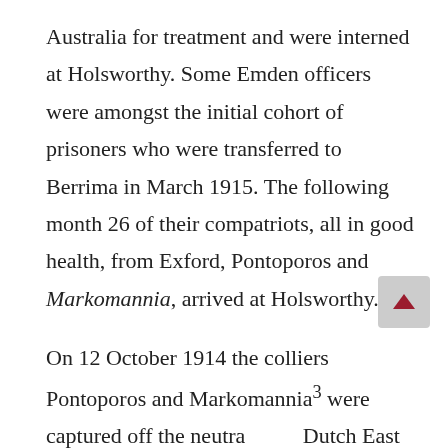Australia for treatment and were interned at Holsworthy. Some Emden officers were amongst the initial cohort of prisoners who were transferred to Berrima in March 1915. The following month 26 of their compatriots, all in good health, from Exford, Pontoporos and Markomannia, arrived at Holsworthy.
On 12 October 1914 the colliers Pontoporos and Markomannia³ were captured off the neutral Dutch East Indies by HMS Yarmouth and taken to Singapore with the crews imprisoned at Tanglin Barracks. On 11 December a similar fate